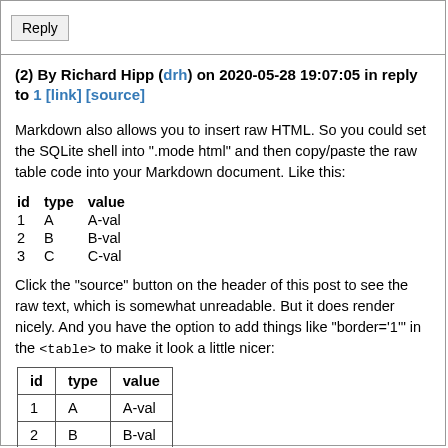Reply
(2) By Richard Hipp (drh) on 2020-05-28 19:07:05 in reply to 1 [link] [source]
Markdown also allows you to insert raw HTML. So you could set the SQLite shell into ".mode html" and then copy/paste the raw table code into your Markdown document. Like this:
| id | type | value |
| --- | --- | --- |
| 1 | A | A-val |
| 2 | B | B-val |
| 3 | C | C-val |
Click the "source" button on the header of this post to see the raw text, which is somewhat unreadable. But it does render nicely. And you have the option to add things like "border='1'" in the <table> to make it look a little nicer:
| id | type | value |
| --- | --- | --- |
| 1 | A | A-val |
| 2 | B | B-val |